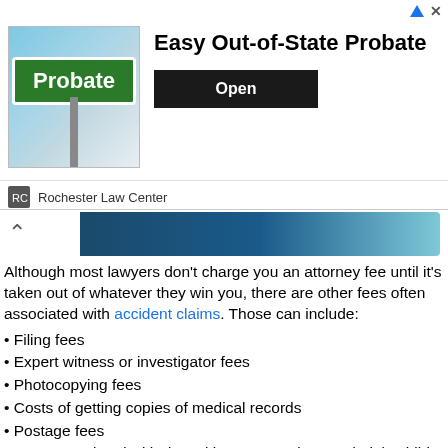[Figure (infographic): Advertisement banner for Rochester Law Center featuring a green Probate street sign, title 'Easy Out-of-State Probate', an Open button, and the Rochester Law Center logo.]
Although most lawyers don't charge you an attorney fee until it's taken out of whatever they win you, there are other fees often associated with accident claims. Those can include:
Filing fees
Expert witness or investigator fees
Photocopying fees
Costs of getting copies of medical records
Postage fees
Fees associated with depositions, transcripts, and trial exhibits
You might worry about your lawyer charging you for these fees, as well. Thankfully, most personal injury lawyers do not charge for extra fees and expenses as they come. They may cover those costs at the moment, then deduct them from your settlement or award at the end (like with the contingency fee). Additional fees tend to be higher the longer your case goes on. You should ask questions about these fees during the consultation with your potential lawyer. If your lawyer is successful and wins you money in your case, they will typically receive